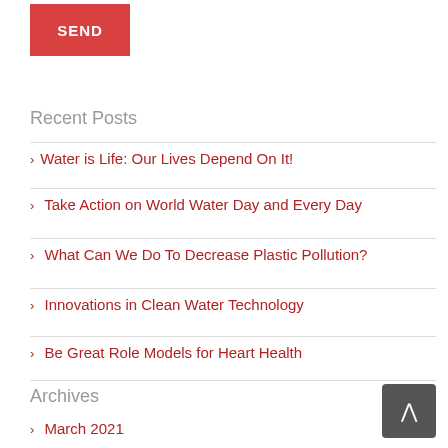SEND
Recent Posts
Water is Life: Our Lives Depend On It!
Take Action on World Water Day and Every Day
What Can We Do To Decrease Plastic Pollution?
Innovations in Clean Water Technology
Be Great Role Models for Heart Health
Archives
March 2021